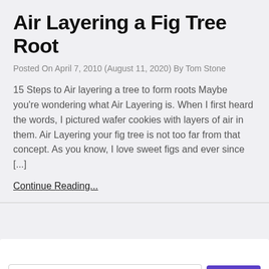Air Layering a Fig Tree Root
Posted On April 7, 2010 (August 11, 2020) By Tom Stone
15 Steps to Air layering a tree to form roots Maybe you're wondering what Air Layering is. When I first heard the words, I pictured wafer cookies with layers of air in them. Air Layering your fig tree is not too far from that concept. As you know, I love sweet figs and ever since [...]
Continue Reading...